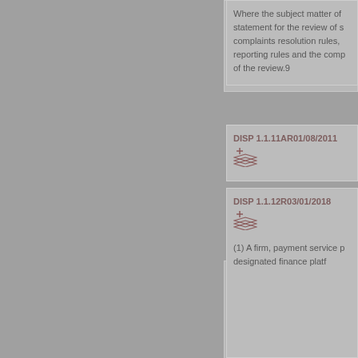Where the subject matter of statement for the review of s complaints resolution rules, reporting rules and the comp of the review.9
DISP 1.1.11AR01/08/2011
12Where the subject matter consumer redress scheme, record rule and the complai
DISP 1.1.12R03/01/2018
(1) A firm, payment service designated finance platf...